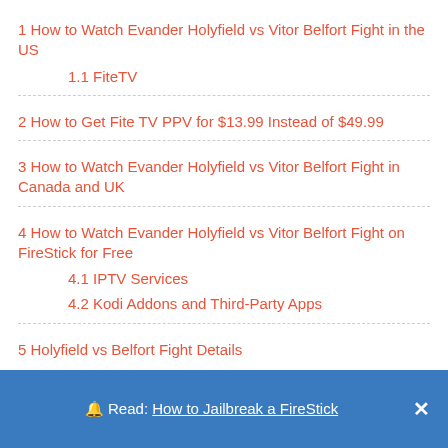1 How to Watch Evander Holyfield vs Vitor Belfort Fight in the US
1.1 FiteTV
2 How to Get Fite TV PPV for $13.99 Instead of $49.99
3 How to Watch Evander Holyfield vs Vitor Belfort Fight in Canada and UK
4 How to Watch Evander Holyfield vs Vitor Belfort Fight on FireStick for Free
4.1 IPTV Services
4.2 Kodi Addons and Third-Party Apps
5 Holyfield vs Belfort Fight Details
5.1 Full Card for Fight Club
🔔 Read: How to Jailbreak a FireStick